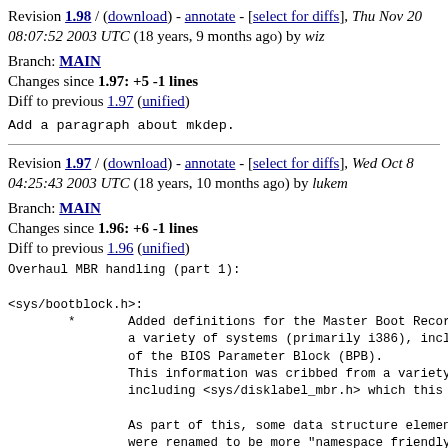Revision 1.98 / (download) - annotate - [select for diffs], Thu Nov 20 08:07:52 2003 UTC (18 years, 9 months ago) by wiz
Branch: MAIN
Changes since 1.97: +5 -1 lines
Diff to previous 1.97 (unified)
Add a paragraph about mkdep.
Revision 1.97 / (download) - annotate - [select for diffs], Wed Oct 8 04:25:43 2003 UTC (18 years, 10 months ago) by lukem
Branch: MAIN
Changes since 1.96: +6 -1 lines
Diff to previous 1.96 (unified)
Overhaul MBR handling (part 1):

<sys/bootblock.h>:
	*	Added definitions for the Master Boot Record (MBR
		a variety of systems (primarily i386), including
		of the BIOS Parameter Block (BPB).
		This information was cribbed from a variety of so
		including <sys/disklabel_mbr.h> which this is a s

		As part of this, some data structure elements and
		were renamed to be more "namespace friendly" and
		with other bootblocks and MBR documentation.
		Update all uses of the old names to the new names